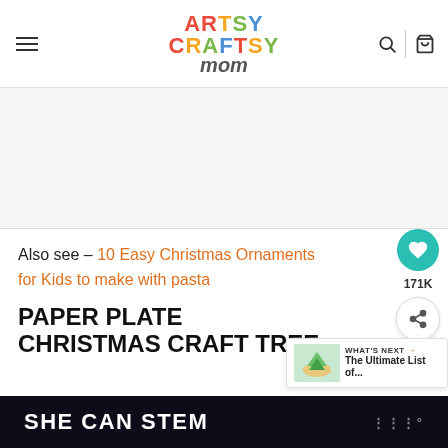Artsy Craftsy Mom
[Figure (other): Advertisement banner area, light gray background]
Also see – 10 Easy Christmas Ornaments for Kids to make with pasta
PAPER PLATE CHRISTMAS CRAFT TREE
[Figure (other): What's Next panel: thumbnail of paper plate craft, text 'WHAT'S NEXT → The Ultimate List of...']
SHE CAN STEM